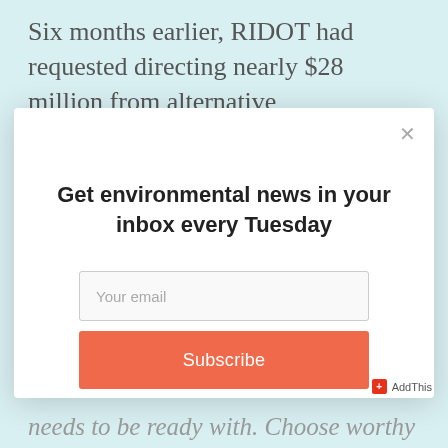Six months earlier, RIDOT had requested directing nearly $28 million from alternative transportation
[Figure (screenshot): Email newsletter subscription modal popup with title 'Get environmental news in your inbox every Tuesday', an email input field, and an orange Subscribe button. A close (X) button appears top-right.]
needs to be ready with. Choose worthy